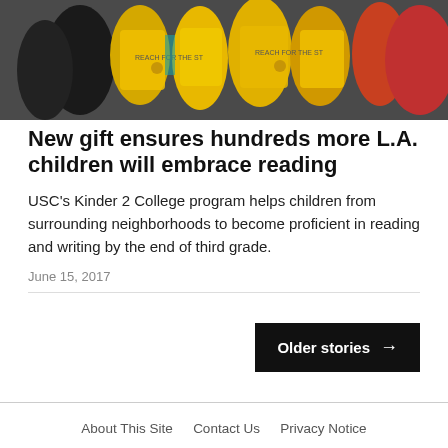[Figure (photo): Children wearing yellow 'Reach for the Stars' vests walking together in a group]
New gift ensures hundreds more L.A. children will embrace reading
USC's Kinder 2 College program helps children from surrounding neighborhoods to become proficient in reading and writing by the end of third grade.
June 15, 2017
Older stories →
About This Site   Contact Us   Privacy Notice   Notice of Non-Discrimination